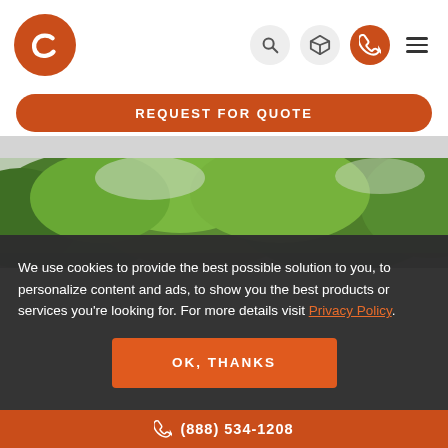[Figure (logo): American Steel. American Jobs. orange circular logo with stylized C letter]
American Steel.
American Jobs.
[Figure (screenshot): Navigation icons: search, 3D box, phone contact (orange), hamburger menu]
REQUEST FOR QUOTE
[Figure (photo): Outdoor photo of green trees under overcast sky]
We use cookies to provide the best possible solution to you, to personalize content and ads, to show you the best products or services you're looking for. For more details visit Privacy Policy.
OK, THANKS
(888) 534-1208